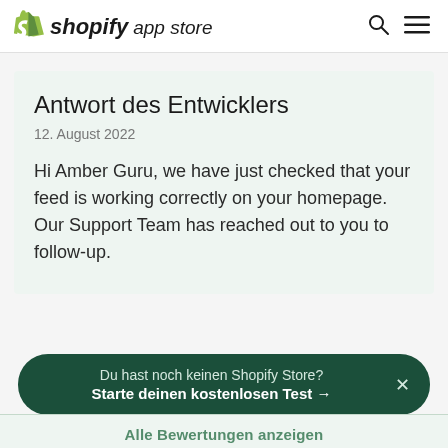shopify app store
Antwort des Entwicklers
12. August 2022
Hi Amber Guru, we have just checked that your feed is working correctly on your homepage. Our Support Team has reached out to you to follow-up.
Du hast noch keinen Shopify Store? Starte deinen kostenlosen Test →
Alle Bewertungen anzeigen